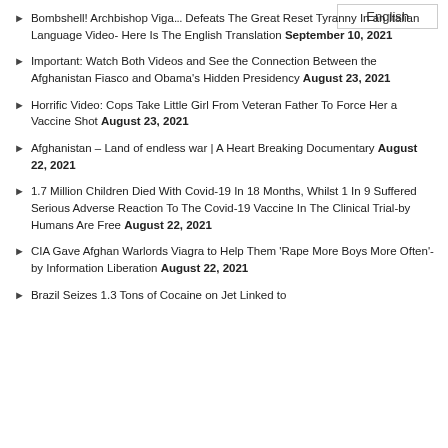English
Bombshell! Archbishop Viga... Defeats The Great Reset Tyranny In an Italian Language Video- Here Is The English Translation September 10, 2021
Important: Watch Both Videos and See the Connection Between the Afghanistan Fiasco and Obama's Hidden Presidency August 23, 2021
Horrific Video: Cops Take Little Girl From Veteran Father To Force Her a Vaccine Shot August 23, 2021
Afghanistan – Land of endless war | A Heart Breaking Documentary August 22, 2021
1.7 Million Children Died With Covid-19 In 18 Months, Whilst 1 In 9 Suffered Serious Adverse Reaction To The Covid-19 Vaccine In The Clinical Trial-by Humans Are Free August 22, 2021
CIA Gave Afghan Warlords Viagra to Help Them 'Rape More Boys More Often'-by Information Liberation August 22, 2021
Brazil Seizes 1.3 Tons of Cocaine on Jet Linked to